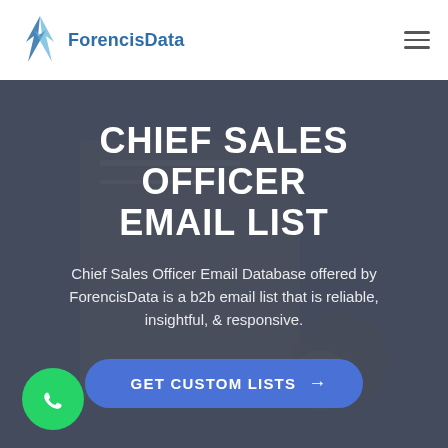[Figure (logo): ForencisData logo with arrow/lightning bolt mark and blue text]
CHIEF SALES OFFICER EMAIL LIST
Chief Sales Officer Email Database offered by ForencisData is a b2b email list that is reliable, insightful, & responsive.
GET CUSTOM LISTS →
[Figure (illustration): Green WhatsApp icon circle button in bottom left corner]